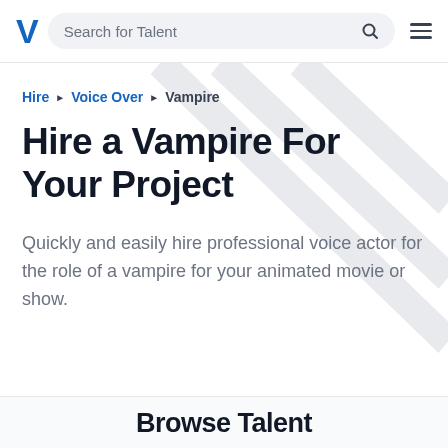V | Search for Talent
Hire ▶ Voice Over ▶ Vampire
Hire a Vampire For Your Project
Quickly and easily hire professional voice actor for the role of a vampire for your animated movie or show.